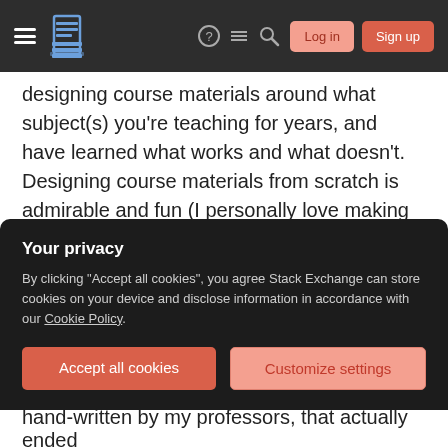Stack Exchange navigation bar with hamburger menu, logo, help, chat, search icons, Log in and Sign up buttons
designing course materials around what subject(s) you're teaching for years, and have learned what works and what doesn't. Designing course materials from scratch is admirable and fun (I personally love making unit plans). However, it's a huge waste of time in most cases, as you're reinventing the wheel (something that you should try to avoid in life in general). Instead, take a solid, existing set of materials, and adapt them to be more interesting, engaging for lectures, etc. Bend the materials to your teaching style, and you will save yourself quite
Your privacy
By clicking "Accept all cookies", you agree Stack Exchange can store cookies on your device and disclose information in accordance with our Cookie Policy.
Accept all cookies
Customize settings
hand-written by my professors, that actually ended